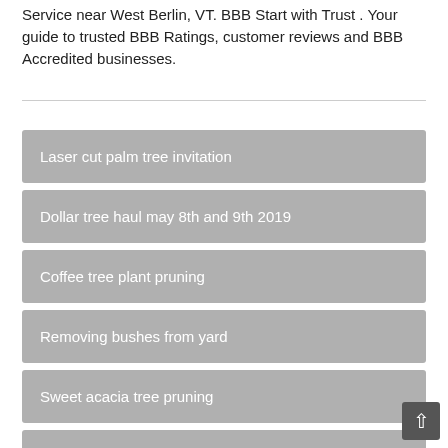Service near West Berlin, VT. BBB Start with Trust . Your guide to trusted BBB Ratings, customer reviews and BBB Accredited businesses.
Laser cut palm tree invitation
Dollar tree haul may 8th and 9th 2019
Coffee tree plant pruning
Removing bushes from yard
Sweet acacia tree pruning
Stump grinder rental greensboro nc